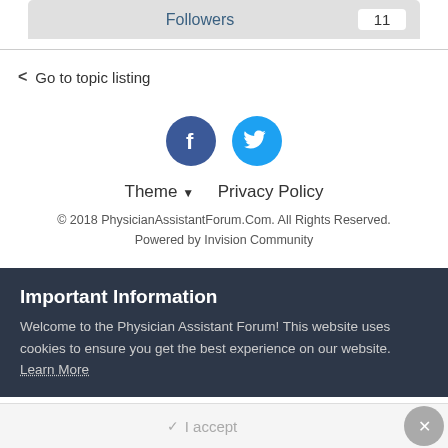Followers  11
< Go to topic listing
[Figure (illustration): Facebook and Twitter social media circular icon buttons side by side]
Theme ▼   Privacy Policy
© 2018 PhysicianAssistantForum.Com. All Rights Reserved. Powered by Invision Community
Important Information
Welcome to the Physician Assistant Forum! This website uses cookies to ensure you get the best experience on our website. Learn More
✓ I accept  ×